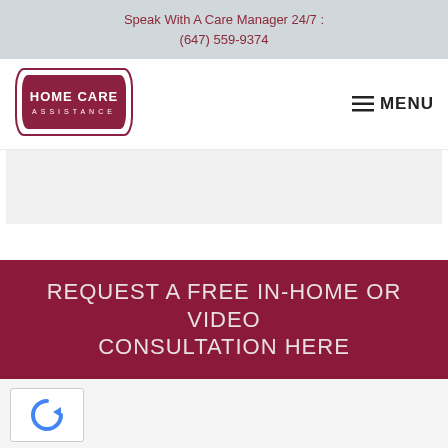Speak With A Care Manager 24/7 : (647) 559-9374
[Figure (logo): Home Care Assistance logo with dark red shield/badge shape and white text]
≡ MENU
[Figure (photo): Light gray hero image placeholder area]
REQUEST A FREE IN-HOME OR VIDEO CONSULTATION HERE
[Figure (other): reCAPTCHA widget with blue arrow icon]
REQUEST A FREE IN-HOME CONSULTATION